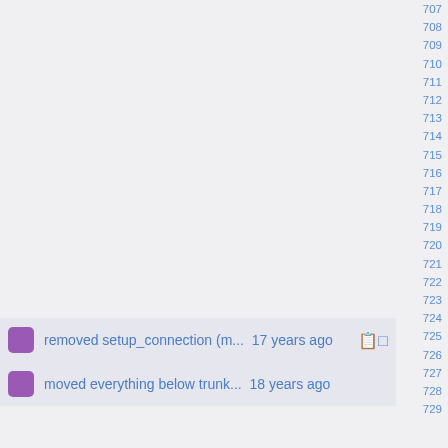removed setup_connection (m...  17 years ago  [copy icon]  714
moved everything below trunk...  18 years ago  715
707 708 709 710 711 712 713 714 715 716 717 718 719 720 721 722 723 724 725 726 727 728 729